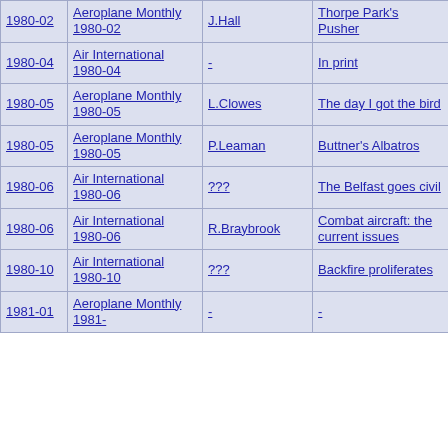| Date | Publication | Author | Title |
| --- | --- | --- | --- |
| 1980-02 | Aeroplane Monthly 1980-02 | J.Hall | Thorpe Park's Pusher |
| 1980-04 | Air International 1980-04 | - | In print |
| 1980-05 | Aeroplane Monthly 1980-05 | L.Clowes | The day I got the bird |
| 1980-05 | Aeroplane Monthly 1980-05 | P.Leaman | Buttner's Albatros |
| 1980-06 | Air International 1980-06 | ??? | The Belfast goes civil |
| 1980-06 | Air International 1980-06 | R.Braybrook | Combat aircraft: the current issues |
| 1980-10 | Air International 1980-10 | ??? | Backfire proliferates |
| 1981-01 | Aeroplane Monthly 1981- | - | - |